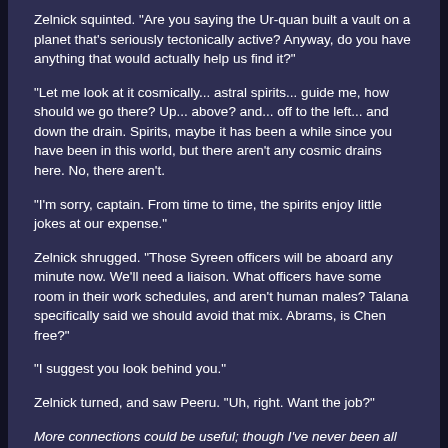Zelnick squinted. "Are you saying the Ur-quan built a vault on a planet that's seriously tectonically active? Anyway, do you have anything that would actually help us find it?"
"Let me look at it cosmically... astral spirits... guide me, how should we go there? Up... above? and... off to the left... and down the drain. Spirits, maybe it has been a while since you have been in this world, but there aren't any cosmic drains here. No, there aren't.
"I'm sorry, captain. From time to time, the spirits enjoy little jokes at our expense."
Zelnick shrugged. "Those Syreen officers will be aboard any minute now. We'll need a liaison. What officers have some room in their work schedules, and aren't human males? Talana specifically said we should avoid that mix. Abrams, is Chen free?"
"I suggest you look behind you."
Zelnick turned, and saw Peeru. "Uh, right. Want the job?"
More connections could be useful; though I've never been all that good at exploiting them, they were better than not having them. "Sure. About the vault planet, I'd open a position on it being in their territory.